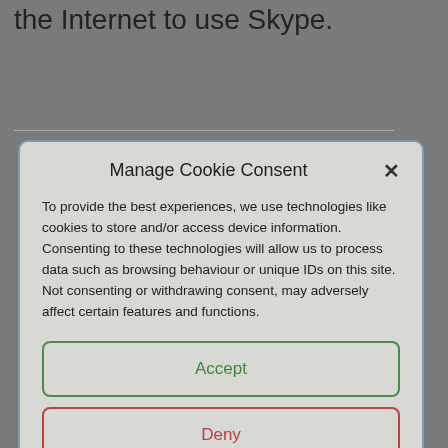the Internet to use Skype.
Manage Cookie Consent
To provide the best experiences, we use technologies like cookies to store and/or access device information. Consenting to these technologies will allow us to process data such as browsing behaviour or unique IDs on this site. Not consenting or withdrawing consent, may adversely affect certain features and functions.
Accept
Deny
View preferences
Cookie Policy   Privacy Statement